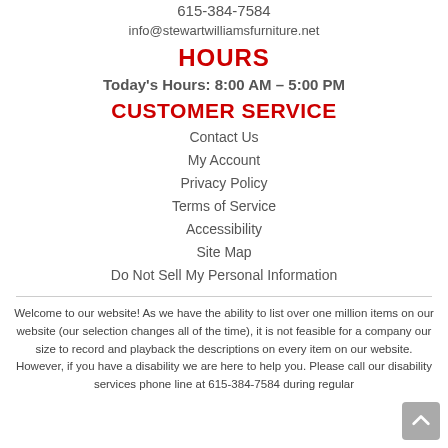615-384-7584
info@stewartwilliamsfurniture.net
HOURS
Today's Hours: 8:00 AM - 5:00 PM
CUSTOMER SERVICE
Contact Us
My Account
Privacy Policy
Terms of Service
Accessibility
Site Map
Do Not Sell My Personal Information
Welcome to our website! As we have the ability to list over one million items on our website (our selection changes all of the time), it is not feasible for a company our size to record and playback the descriptions on every item on our website. However, if you have a disability we are here to help you. Please call our disability services phone line at 615-384-7584 during regular